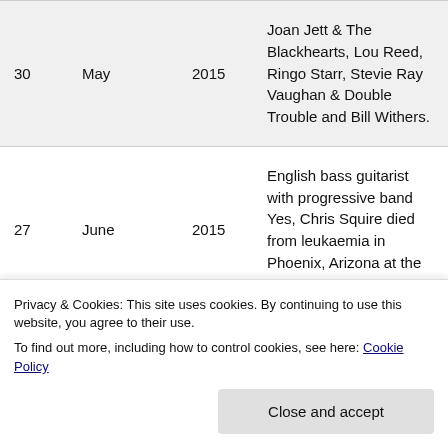| Day | Month | Year | Description |
| --- | --- | --- | --- |
| 30 | May | 2015 | Joan Jett & The Blackhearts, Lou Reed, Ringo Starr, Stevie Ray Vaughan & Double Trouble and Bill Withers. |
| 27 | June | 2015 | English bass guitarist with progressive band Yes, Chris Squire died from leukaemia in Phoenix, Arizona at the age of 67. |
| 11 | September | 2015 | English indie rock band The Libertines released their highly anticipated 3rd studio album, |
Privacy & Cookies: This site uses cookies. By continuing to use this website, you agree to their use.
To find out more, including how to control cookies, see here: Cookie Policy
Close and accept